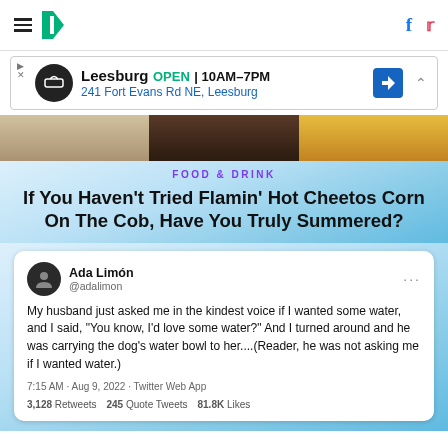HuffPost navigation bar with hamburger menu, logo, Facebook and Twitter icons
[Figure (screenshot): Ad banner: Leesburg OPEN 10AM-7PM, 241 Fort Evans Rd NE, Leesburg, with direction arrow icon]
[Figure (photo): Food image strip showing three segments: a dish with white sauce, a dark food item, and grilled corn/vegetables]
FOOD & DRINK
If You Haven't Tried Flamin' Hot Cheetos Corn On The Cob, Have You Truly Summered?
[Figure (screenshot): Tweet by Ada Limón (@adalimon): My husband just asked me in the kindest voice if I wanted some water, and I said, "You know, I'd love some water?" And I turned around and he was carrying the dog's water bowl to her....(Reader, he was not asking me if I wanted water.) 7:15 AM · Aug 9, 2022 · Twitter Web App. 3,128 Retweets 245 Quote Tweets 81.8K Likes]